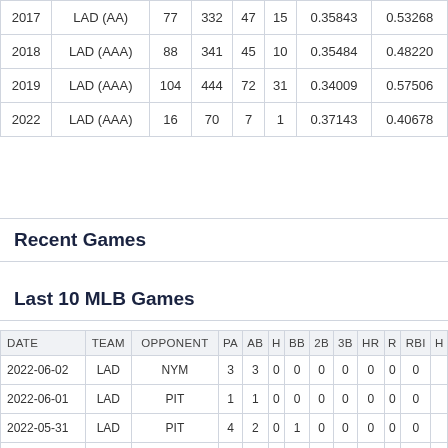| Year | Team | G | PA | R | HR | OBP | SLG |
| --- | --- | --- | --- | --- | --- | --- | --- |
| 2017 | LAD (AA) | 77 | 332 | 47 | 15 | 0.35843 | 0.53268 |
| 2018 | LAD (AAA) | 88 | 341 | 45 | 10 | 0.35484 | 0.48220 |
| 2019 | LAD (AAA) | 104 | 444 | 72 | 31 | 0.34009 | 0.57506 |
| 2022 | LAD (AAA) | 16 | 70 | 7 | 1 | 0.37143 | 0.40678 |
Recent Games
Last 10 MLB Games
| DATE | TEAM | OPPONENT | PA | AB | H | BB | 2B | 3B | HR | R | RBI | H |
| --- | --- | --- | --- | --- | --- | --- | --- | --- | --- | --- | --- | --- |
| 2022-06-02 | LAD | NYM | 3 | 3 | 0 | 0 | 0 | 0 | 0 | 0 | 0 |  |
| 2022-06-01 | LAD | PIT | 1 | 1 | 0 | 0 | 0 | 0 | 0 | 0 | 0 |  |
| 2022-05-31 | LAD | PIT | 4 | 2 | 0 | 1 | 0 | 0 | 0 | 0 | 0 |  |
| 2022-05-30 | LAD | PIT | 4 | 4 | 1 | 0 | 0 | 0 | 1 | 1 | 1 |  |
| 2022-05-29 | LAD | @ARI | 4 | 4 | 0 | 0 | 0 | 0 | 0 | 0 | 0 |  |
| 2022-05-28 | LAD | @ARI | 4 | 4 | 1 | 0 | 0 | 0 | 0 | 0 | 0 |  |
| 2022-05-27 | LAD | @ARI | 4 | 3 | 1 | 1 | 0 | 0 | 1 | 2 | 3 |  |
| 2022-05-26 | LAD | @ARI | 6 | 6 | 3 | 0 | 0 | 0 | 0 | 1 | 0 |  |